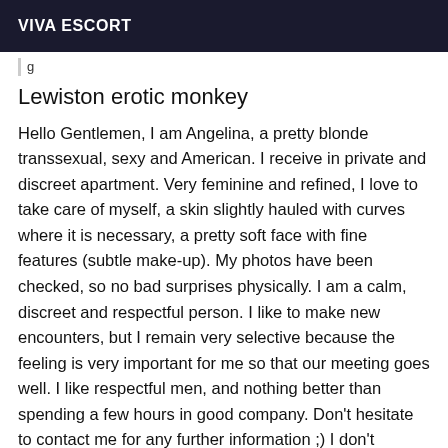VIVA ESCORT
g
Lewiston erotic monkey
Hello Gentlemen, I am Angelina, a pretty blonde transsexual, sexy and American. I receive in private and discreet apartment. Very feminine and refined, I love to take care of myself, a skin slightly hauled with curves where it is necessary, a pretty soft face with fine features (subtle make-up). My photos have been checked, so no bad surprises physically. I am a calm, discreet and respectful person. I like to make new encounters, but I remain very selective because the feeling is very important for me so that our meeting goes well. I like respectful men, and nothing better than spending a few hours in good company. Don't hesitate to contact me for any further information ;) I don't answer hidden calls or SMS ...(totally impersonal, I like to know who I'm dealing with and for this, nothing better than talking to each other in person). Soft and warm kisses.